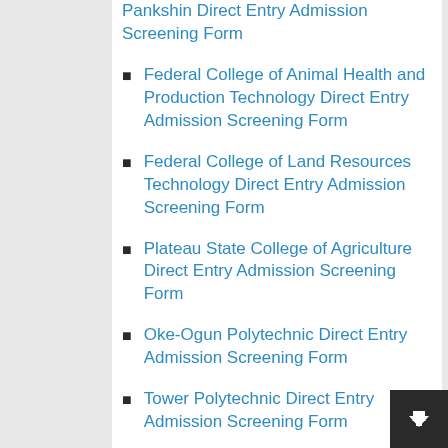Pankshin Direct Entry Admission Screening Form
Federal College of Animal Health and Production Technology Direct Entry Admission Screening Form
Federal College of Land Resources Technology Direct Entry Admission Screening Form
Plateau State College of Agriculture Direct Entry Admission Screening Form
Oke-Ogun Polytechnic Direct Entry Admission Screening Form
Tower Polytechnic Direct Entry Admission Screening Form
The Kings Polytechnic Direct Entry Admission Screening Form